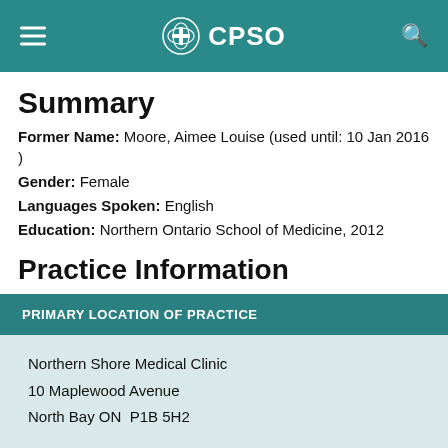CPSO
Summary
Former Name: Moore, Aimee Louise (used until: 10 Jan 2016 )
Gender: Female
Languages Spoken: English
Education: Northern Ontario School of Medicine, 2012
Practice Information
PRIMARY LOCATION OF PRACTICE
Northern Shore Medical Clinic
10 Maplewood Avenue
North Bay ON  P1B 5H2